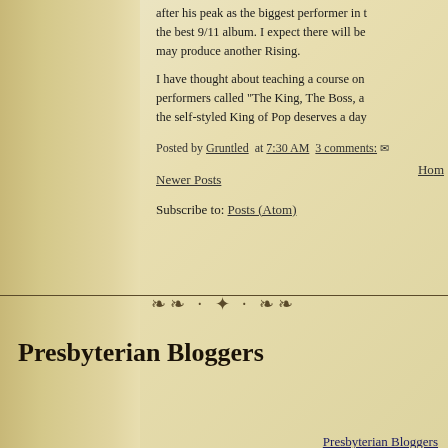after his peak as the biggest performer in the world, and it was the best 9/11 album. I expect there will be more. He may produce another Rising.
I have thought about teaching a course on the great rock performers called "The King, The Boss, a..." the self-styled King of Pop deserves a day...
Posted by Gruntled at 7:30 AM 3 comments:
Newer Posts
Subscribe to: Posts (Atom)
Presbyterian Bloggers
Presbyterian Bloggers
Powered By Ringsurf
[Figure (other): BlogTopSites badge showing '73 BLOGTOPSITES']